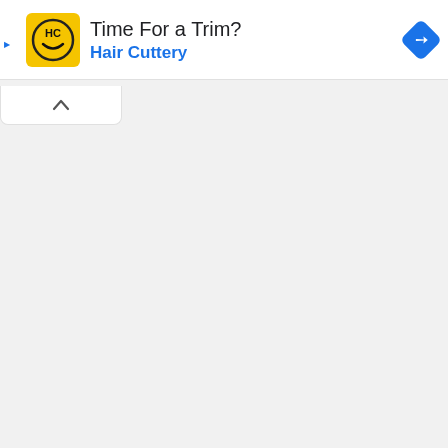[Figure (screenshot): Advertisement banner for Hair Cuttery with yellow logo icon, text 'Time For a Trim?' and 'Hair Cuttery' in blue, and a blue navigation/directions diamond icon on the right.]
[Figure (screenshot): A collapse/chevron-up button bar below the advertisement banner.]